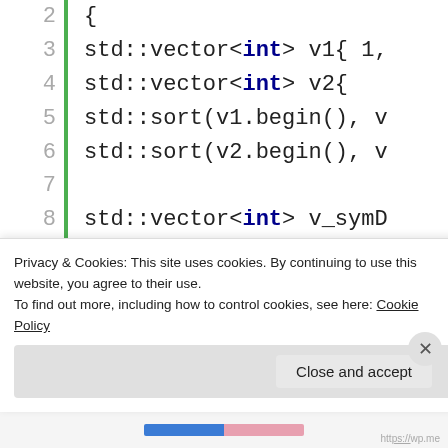[Figure (screenshot): Code editor screenshot showing C++ source code with line numbers 2–15 and a green vertical bar. Lines include std::vector declarations, std::sort calls, std::vector v_symD declaration, std::set_symmetric_diff call spanning lines 10–13, and start of for loop on line 15.]
Privacy & Cookies: This site uses cookies. By continuing to use this website, you agree to their use.
To find out more, including how to control cookies, see here: Cookie Policy
Close and accept